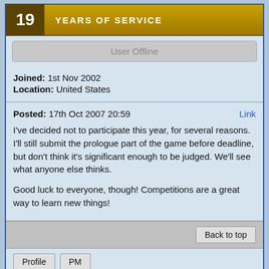[Figure (infographic): Years of service badge showing '19 YEARS OF SERVICE' in a gold bar]
User Offline
Joined: 1st Nov 2002
Location: United States
Posted: 17th Oct 2007 20:59
Link
I've decided not to participate this year, for several reasons. I'll still submit the prologue part of the game before deadline, but don't think it's significant enough to be judged. We'll see what anyone else thinks.

Good luck to everyone, though! Competitions are a great way to learn new things!
Back to top
Profile
PM
[Figure (illustration): Generic user avatar silhouette placeholder]